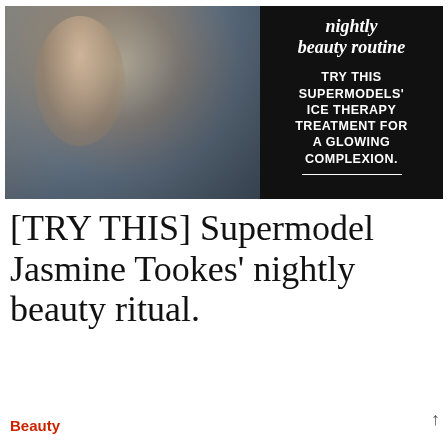[Figure (photo): Composite image: left half shows a fashion photo of a woman with long hair and sunglasses; right half has black background with italic 'nightly beauty routine' heading and bold text 'TRY THIS SUPERMODELS' ICE THERAPY TREATMENT FOR A GLOWING COMPLEXION.' with a white underline.]
[TRY THIS] Supermodel Jasmine Tookes' nightly beauty ritual.
Beauty